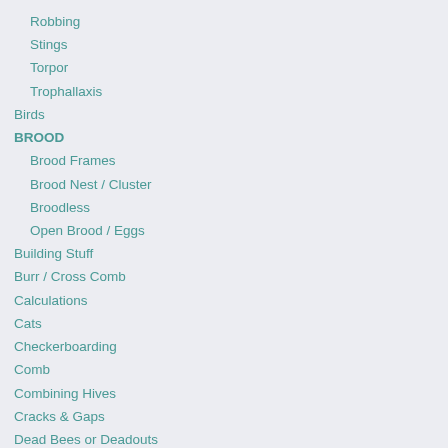Robbing
Stings
Torpor
Trophallaxis
Birds
BROOD
Brood Frames
Brood Nest / Cluster
Broodless
Open Brood / Eggs
Building Stuff
Burr / Cross Comb
Calculations
Cats
Checkerboarding
Comb
Combining Hives
Cracks & Gaps
Dead Bees or Deadouts
Dearth
Deep Thoughts
Definitions